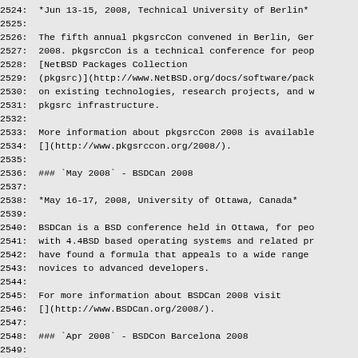2524:  *Jun 13-15, 2008, Technical University of Berlin*
2525:
2526:  The fifth annual pkgsrcCon convened in Berlin, Ger
2527:  2008. pkgsrcCon is a technical conference for peo
2528:  [NetBSD Packages Collection
2529:  (pkgsrc)](http://www.NetBSD.org/docs/software/pack
2530:  on existing technologies, research projects, and w
2531:  pkgsrc infrastructure.
2532:
2533:  More information about pkgsrcCon 2008 is available
2534:  [](http://www.pkgsrccon.org/2008/).
2535:
2536:  ### `May 2008` - BSDCan 2008
2537:
2538:  *May 16-17, 2008, University of Ottawa, Canada*
2539:
2540:  BSDCan is a BSD conference held in Ottawa, for peo
2541:  with 4.4BSD based operating systems and related pr
2542:  have found a formula that appeals to a wide range
2543:  novices to advanced developers.
2544:
2545:  For more information about BSDCan 2008 visit
2546:  [](http://www.BSDCan.org/2008/).
2547:
2548:  ### `Apr 2008` - BSDCon Barcelona 2008
2549:
2550:  *Apr 19-20, 2008, Universitat Politècnica de Cata
2551:  Spain*
2552:
2553:  For more information about BSDCon Barcelona '08 vi